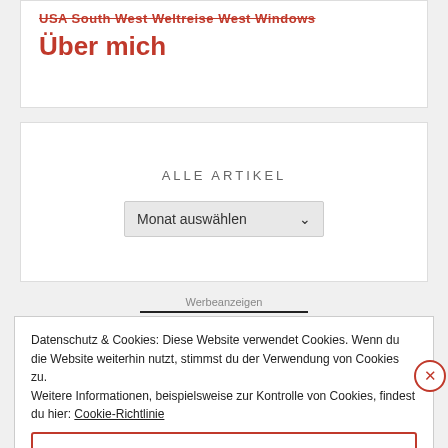Über mich
ALLE ARTIKEL
Monat auswählen
Werbeanzeigen
Datenschutz & Cookies: Diese Website verwendet Cookies. Wenn du die Website weiterhin nutzt, stimmst du der Verwendung von Cookies zu.
Weitere Informationen, beispielsweise zur Kontrolle von Cookies, findest du hier: Cookie-Richtlinie
Schließen und Akzeptieren